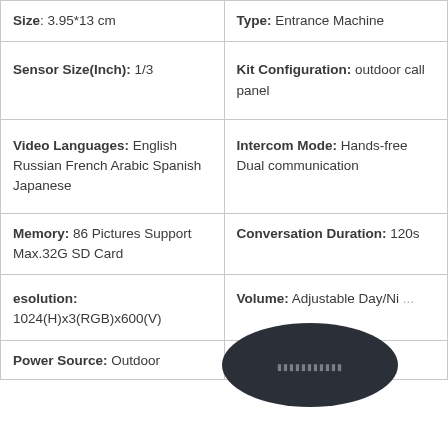| Size: 3.95*13 cm | Type: Entrance Machine |
| Sensor Size(Inch): 1/3 | Kit Configuration: outdoor call panel |
| Video Languages: English Russian French Arabic Spanish Japanese | Intercom Mode: Hands-free Dual communication |
| Memory: 86 Pictures Support Max.32G SD Card | Conversation Duration: 120s |
| esolution: 1024(H)x3(RGB)x600(V) | Volume: Adjustable Day/Ni... |
| Power Source: Outdoor | Waterproof: IP65 |